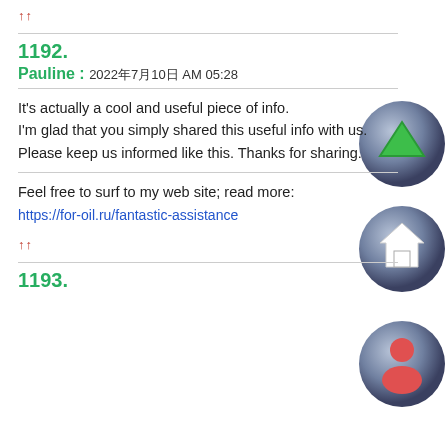↑↑
1192.
Pauline : 2022年7月10日 AM 05:28
It's actually a cool and useful piece of info. I'm glad that you simply shared this useful info with us. Please keep us informed like this. Thanks for sharing.
Feel free to surf to my web site; read more:
https://for-oil.ru/fantastic-assistance
↑↑
1193.